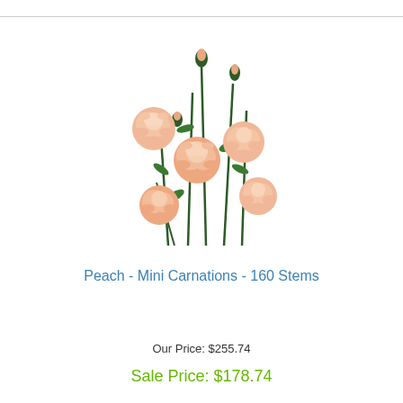[Figure (photo): Peach mini carnation stems with green leaves and buds arranged in a bouquet-style display against white background]
Peach - Mini Carnations - 160 Stems
Our Price: $255.74
Sale Price: $178.74